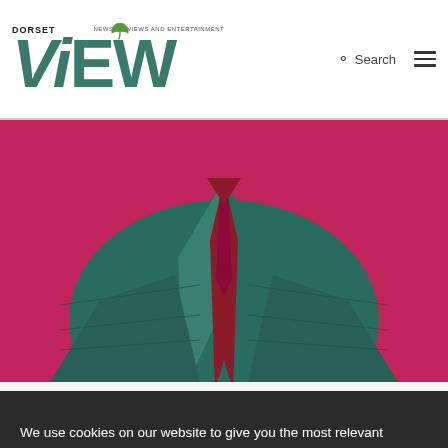DORSET VIEW — NEWS, REVIEWS AND ENTERTAINMENT
[Figure (photo): Man in teal plaid blazer and dark red shirt and tie against a bright pink/magenta background, photographed from neck down]
Sing-Along-A-Gareth! tickets on sale
We use cookies on our website to give you the most relevant experience by remembering your preferences and repeat visits. By clicking "Accept", you consent to the use of ALL the cookies.
Cookie settings   ACCEPT